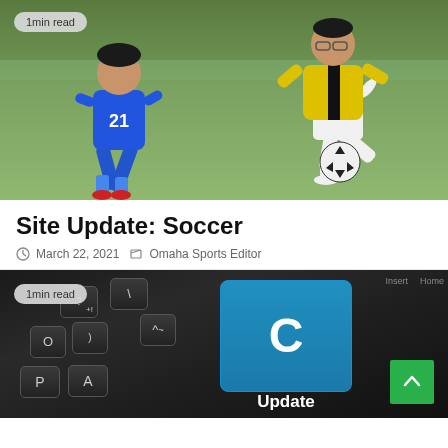[Figure (photo): Two youth soccer players on a grass field. Player in blue jersey #21 running left, player in yellow and black jersey kicking toward a soccer ball on the right.]
1min read
Site Update: Soccer
March 22, 2021   Omaha Sports Editor
[Figure (photo): Close-up of a black keyboard with a prominent blue 'C Update' key in the center and a green scroll-to-top button in the lower right.]
1min read